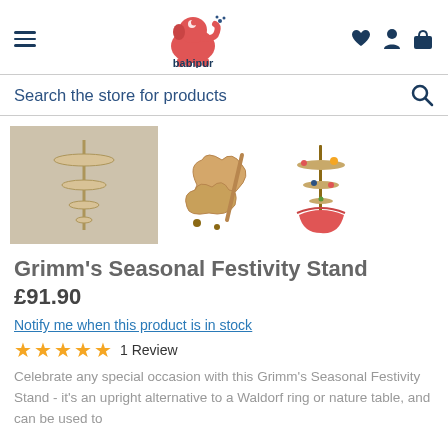[Figure (logo): Babipur logo - red elephant with crescent moon and water splash, text 'babipur' below]
Search the store for products
[Figure (photo): Three product images of Grimm's Seasonal Festivity Stand: main image showing assembled tiered wooden stand (greyed/selected), flat lay of wooden pieces, and decorated stand in use]
Grimm's Seasonal Festivity Stand
£91.90
Notify me when this product is in stock
★★★★★  1  Review
Celebrate any special occasion with this Grimm's Seasonal Festivity Stand - it's an upright alternative to a Waldorf ring or nature table, and can be used to